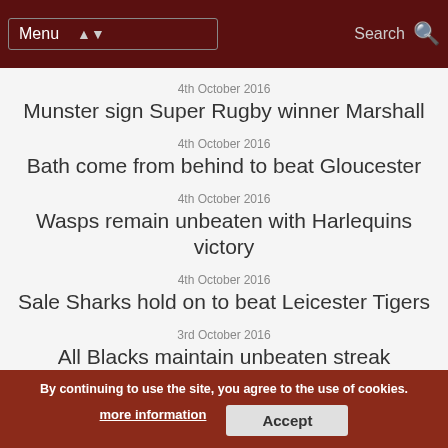Menu | Search
4th October 2016
Munster sign Super Rugby winner Marshall
4th October 2016
Bath come from behind to beat Gloucester
4th October 2016
Wasps remain unbeaten with Harlequins victory
4th October 2016
Sale Sharks hold on to beat Leicester Tigers
3rd October 2016
All Blacks maintain unbeaten streak
3rd October 2016
Northampton come from behind to beat Exeter Chiefs
South Africa end losing streak with win over Australia
By continuing to use the site, you agree to the use of cookies. more information Accept